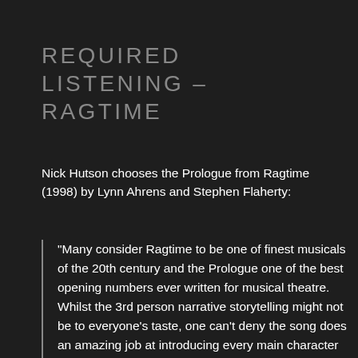REQUIRED LISTENING – RAGTIME
Nick Hutson chooses the Prologue from Ragtime (1998) by Lynn Ahrens and Stephen Flaherty:
“Many consider Ragtime to be one of finest musicals of the 20th century and the Prologue one of the best opening numbers ever written for musical theatre. Whilst the 3rd person narrative storytelling might not be to everyone’s taste, one can’t deny the song does an amazing job at introducing every main character in the piece; the show’s key musical motifs (adapted from the show’s